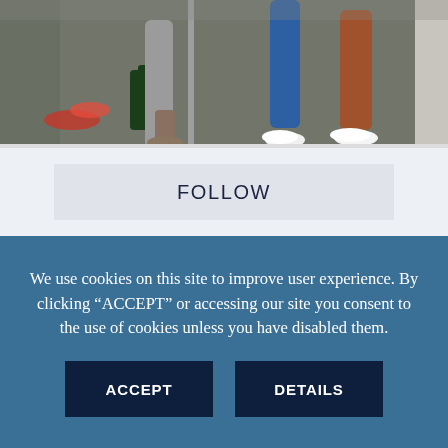[Figure (photo): Lower bodies and feet of several people standing in a room with grey carpet; red items on floor, a dark green bag visible, people wearing blue trousers, brown trousers, white sneakers]
FOLLOW
We use cookies on this site to improve user experience. By clicking “ACCEPT” or accessing our site you consent to the use of cookies unless you have disabled them.
ACCEPT
DETAILS